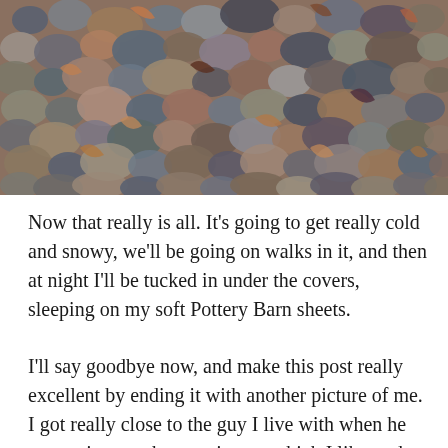[Figure (photo): Close-up photograph of a mix of small rocks, pebbles, and dried leaves on the ground. Colors include grey, brown, rust, and muted earth tones.]
Now that really is all. It's going to get really cold and snowy, we'll be going on walks in it, and then at night I'll be tucked in under the covers, sleeping on my soft Pottery Barn sheets.
I'll say goodbye now, and make this post really excellent by ending it with another picture of me. I got really close to the guy I live with when he was trying to take my picture, which I like to do. You can see the funny little ridge of hair